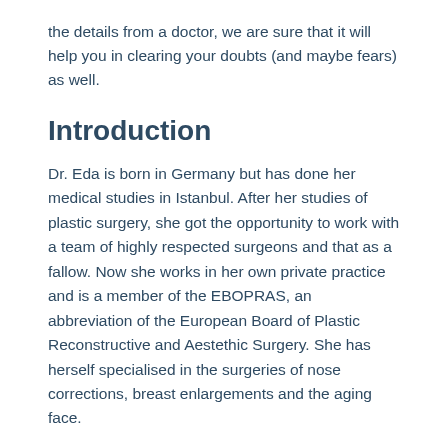the details from a doctor, we are sure that it will help you in clearing your doubts (and maybe fears) as well.
Introduction
Dr. Eda is born in Germany but has done her medical studies in Istanbul. After her studies of plastic surgery, she got the opportunity to work with a team of highly respected surgeons and that as a fallow. Now she works in her own private practice and is a member of the EBOPRAS, an abbreviation of the European Board of Plastic Reconstructive and Aestethic Surgery. She has herself specialised in the surgeries of nose corrections, breast enlargements and the aging face.
Aging Face